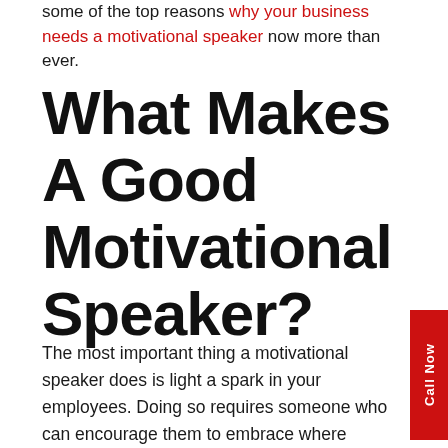some of the top reasons why your business needs a motivational speaker now more than ever.
What Makes A Good Motivational Speaker?
The most important thing a motivational speaker does is light a spark in your employees. Doing so requires someone who can encourage them to embrace where they're at in life and strive to do better. A good motivational speaker is made from years of hard work, determination, and overcoming their own obstacles. Being open about their professional failures and